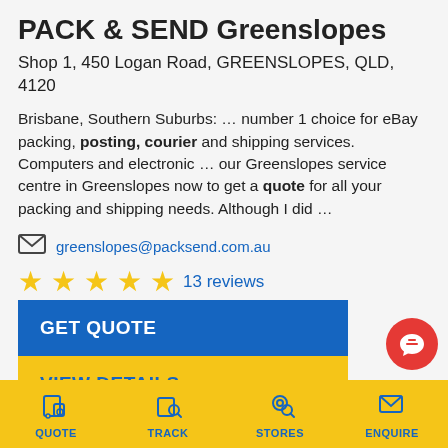PACK & SEND Greenslopes
Shop 1, 450 Logan Road, GREENSLOPES, QLD, 4120
Brisbane, Southern Suburbs: … number 1 choice for eBay packing, posting, courier and shipping services. Computers and electronic … our Greenslopes service centre in Greenslopes now to get a quote for all your packing and shipping needs. Although I did …
greenslopes@packsend.com.au
13 reviews
07 3493 0692
GET QUOTE
VIEW DETAILS →
QUOTE  TRACK  STORES  ENQUIRE